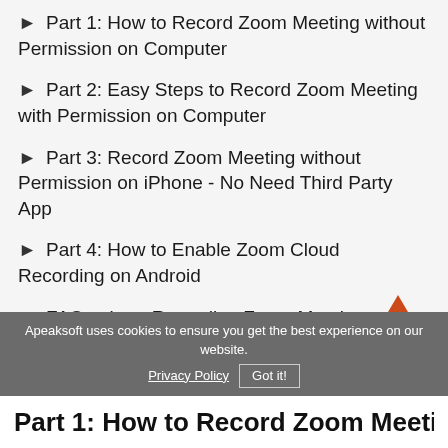► Part 1: How to Record Zoom Meeting without Permission on Computer
► Part 2: Easy Steps to Record Zoom Meeting with Permission on Computer
► Part 3: Record Zoom Meeting without Permission on iPhone - No Need Third Party App
► Part 4: How to Enable Zoom Cloud Recording on Android
► FAQs about Recording Zoom Meeting without Host Permission
Apeaksoft uses cookies to ensure you get the best experience on our website.
Privacy Policy   Got it!
Part 1: How to Record Zoom Meeting